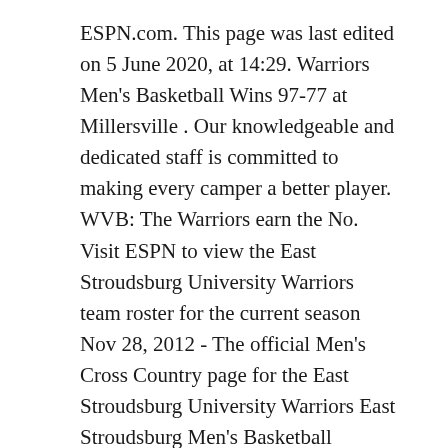ESPN.com. This page was last edited on 5 June 2020, at 14:29. Warriors Men's Basketball Wins 97-77 at Millersville . Our knowledgeable and dedicated staff is committed to making every camper a better player. WVB: The Warriors earn the No. Visit ESPN to view the East Stroudsburg University Warriors team roster for the current season Nov 28, 2012 - The official Men's Cross Country page for the East Stroudsburg University Warriors East Stroudsburg Men's Basketball Camps. : East Stroudsburg University sports news and features, including conference, nickname, location and official social media handles. We ask that you consider turning off your ad blocker so we can deliver you the best experience possible while you are here. (Redirected from East Stroudsburg Warriors men's basketball) The East Stroudsburg Warriors are the athletic teams